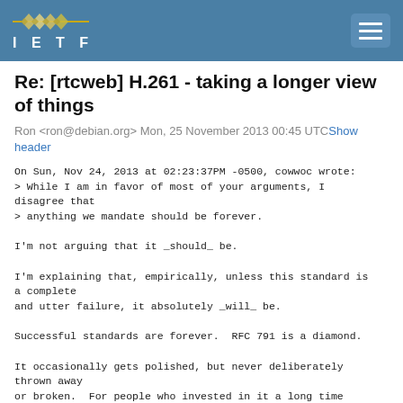IETF
Re: [rtcweb] H.261 - taking a longer view of things
Ron <ron@debian.org> Mon, 25 November 2013 00:45 UTCShow header
On Sun, Nov 24, 2013 at 02:23:37PM -0500, cowwoc wrote:
> While I am in favor of most of your arguments, I disagree that
> anything we mandate should be forever.

I'm not arguing that it _should_ be.

I'm explaining that, empirically, unless this standard is a complete
and utter failure, it absolutely _will_ be.

Successful standards are forever.  RFC 791 is a diamond.

It occasionally gets polished, but never deliberately thrown away
or broken.  For people who invested in it a long time ago, their